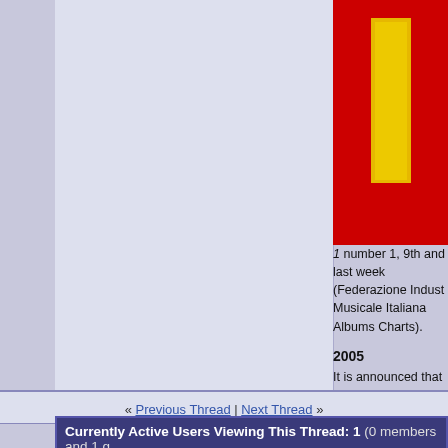[Figure (illustration): Album cover showing a yellow rectangle on a red background]
1 number 1, 9th and last week (Federazione Industria Musicale Italiana Albums Charts).
2005
It is announced that the Strawberry Field children's home, immortalised by the Beatles, is to close.
2012
Iconic artist and philanthropist Paul McCartney is honoured as the 2012 MusiCares Person of the Year at a special event celebrating his exceptional artistic achievements as well as his philanthropic work.
Last edited by bearkat77 : Jan 20, 2014 at 08:34 PM.
« Previous Thread | Next Thread »
Currently Active Users Viewing This Thread: 1 (0 members and 1 g